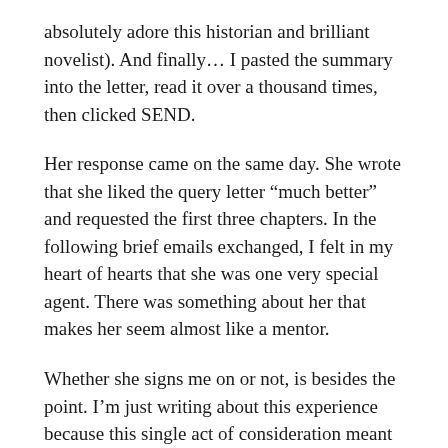absolutely adore this historian and brilliant novelist). And finally… I pasted the summary into the letter, read it over a thousand times, then clicked SEND.
Her response came on the same day. She wrote that she liked the query letter “much better” and requested the first three chapters. In the following brief emails exchanged, I felt in my heart of hearts that she was one very special agent. There was something about her that makes her seem almost like a mentor.
Whether she signs me on or not, is besides the point. I’m just writing about this experience because this single act of consideration meant a lot to me—me, who, having to start querying AGAIN while revising